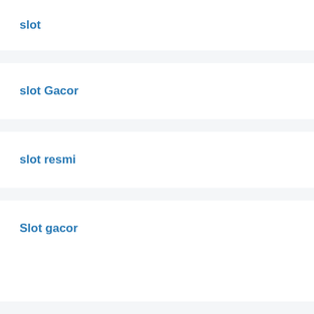slot
slot Gacor
slot resmi
Slot gacor